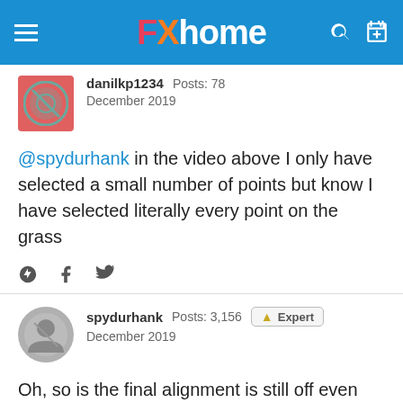FXhome
danilkp1234  Posts: 78
December 2019
@spydurhank in the video above I only have selected a small number of points but know I have selected literally every point on the grass
spydurhank  Posts: 3,156  Expert
December 2019
Oh, so is the final alignment is still off even after you select more points?

And sorry, I missed this the first time that I watched your video. The ground to the bottom left of the screen, all that grass, it is at a slight incline so selecting tracking points at